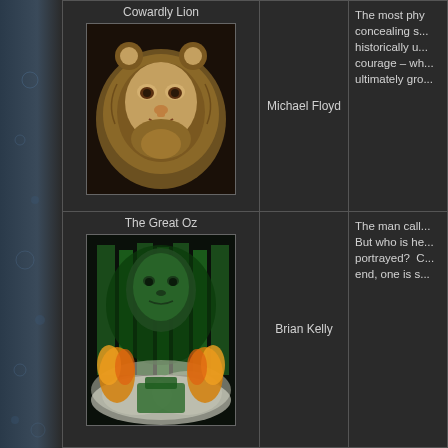Cowardly Lion
[Figure (photo): Actor in Cowardly Lion costume from Wizard of Oz, with furry lion mane and ears]
Michael Floyd
The most phy... concealing s... historically u... courage – wh... ultimately gro...
The Great Oz
[Figure (photo): The Great Oz projected head in green, surrounded by emerald columns and fire]
Brian Kelly
The man call... But who is he... portrayed? C... end, one is s...